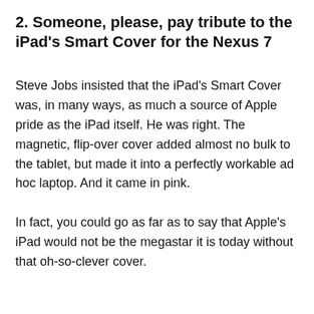2. Someone, please, pay tribute to the iPad's Smart Cover for the Nexus 7
Steve Jobs insisted that the iPad's Smart Cover was, in many ways, as much a source of Apple pride as the iPad itself. He was right. The magnetic, flip-over cover added almost no bulk to the tablet, but made it into a perfectly workable ad hoc laptop. And it came in pink.
In fact, you could go as far as to say that Apple's iPad would not be the megastar it is today without that oh-so-clever cover.